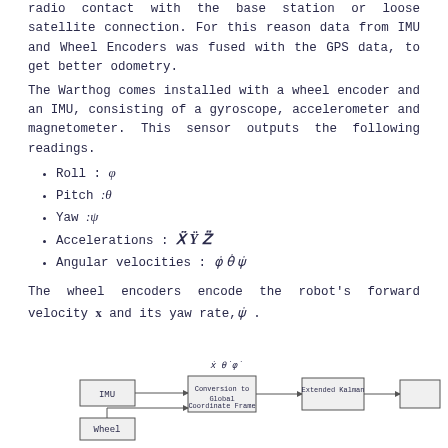radio contact with the base station or loose satellite connection. For this reason data from IMU and Wheel Encoders was fused with the GPS data, to get better odometry.
The Warthog comes installed with a wheel encoder and an IMU, consisting of a gyroscope, accelerometer and magnetometer. This sensor outputs the following readings.
Roll : φ
Pitch :θ
Yaw :ψ
Accelerations : Ẍ Ÿ Z̈
Angular velocities : φ̇ θ̇ ψ̇
The wheel encoders encode the robot's forward velocity x and its yaw rate,ψ̇ .
[Figure (flowchart): Flowchart showing IMU and Wheel boxes feeding into Conversion to Global Coordinate Frame block, then Extended Kalman filter and further blocks. Labels include x dot, theta dot, phi dot above the IMU arrow.]